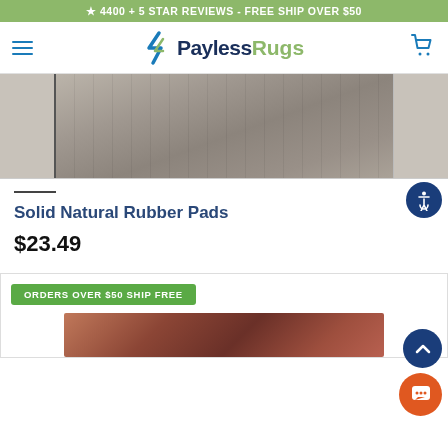★ 4400 + 5 STAR REVIEWS - FREE SHIP OVER $50
[Figure (logo): PaylessRugs logo with hamburger menu and cart icon]
[Figure (photo): Close-up photo of a rug or rubber pad surface texture, grey/brown tones]
Solid Natural Rubber Pads
$23.49
ORDERS OVER $50 SHIP FREE
[Figure (photo): Bottom portion of a product photo showing rug texture in red/brown tones]